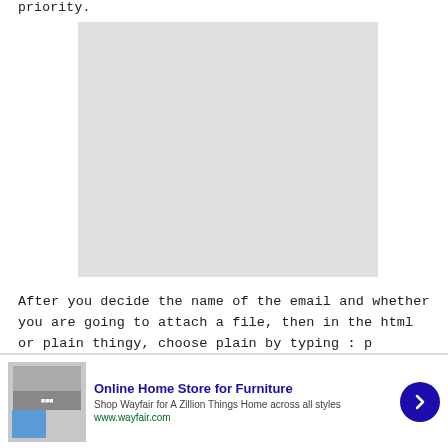priority.
[Figure (other): Gray placeholder image rectangle]
After you decide the name of the email and whether you are going to attach a file, then in the html or plain thingy, choose plain by typing : p
[Figure (other): Advertisement banner for Wayfair Online Home Store for Furniture. Shows product images on left, ad text in center reading 'Online Home Store for Furniture', 'Shop Wayfair for A Zillion Things Home across all styles', 'www.wayfair.com', and a blue arrow button on the right.]